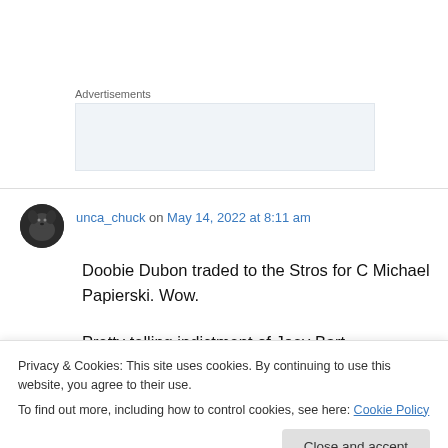Advertisements
[Figure (other): Advertisement placeholder box with light blue-grey background]
unca_chuck on May 14, 2022 at 8:11 am
Doobie Dubon traded to the Stros for C Michael Papierski. Wow.
Pretty telling indictment of Joey Bart.
catching? He's a 26 year old AAA guy with
Privacy & Cookies: This site uses cookies. By continuing to use this website, you agree to their use.
To find out more, including how to control cookies, see here: Cookie Policy